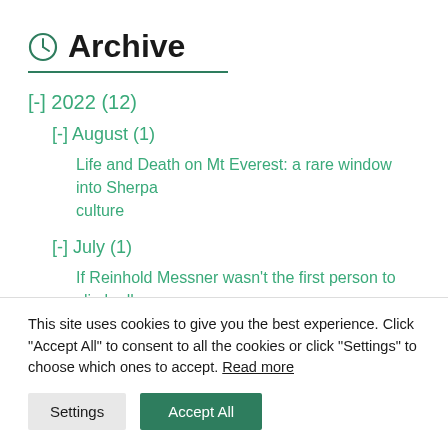Archive
[-] 2022 (12)
[-] August (1)
Life and Death on Mt Everest: a rare window into Sherpa culture
[-] July (1)
If Reinhold Messner wasn't the first person to climb all the 8,000m peaks, who was?
This site uses cookies to give you the best experience. Click "Accept All" to consent to all the cookies or click "Settings" to choose which ones to accept. Read more